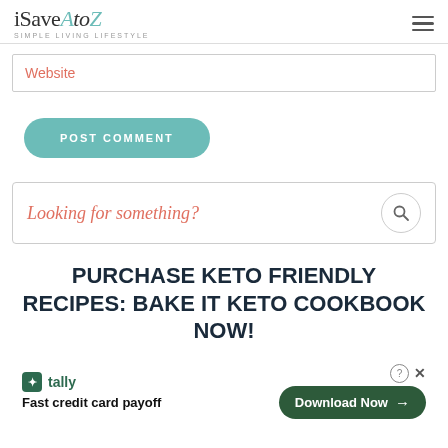iSaveAtoZ — SIMPLE LIVING LIFESTYLE
Website
POST COMMENT
Looking for something?
PURCHASE KETO FRIENDLY RECIPES: BAKE IT KETO COOKBOOK NOW!
[Figure (screenshot): Tally advertisement banner with 'Fast credit card payoff' text and 'Download Now' button]